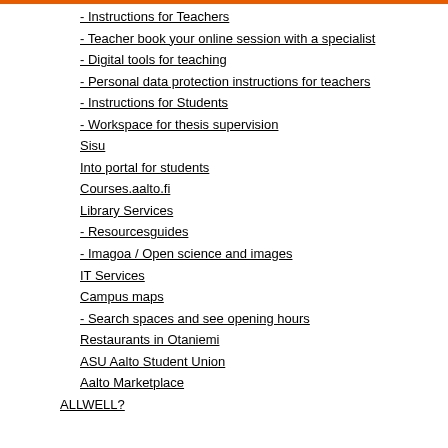- Instructions for Teachers
- Teacher book your online session with a specialist
- Digital tools for teaching
- Personal data protection instructions for teachers
- Instructions for Students
- Workspace for thesis supervision
Sisu
Into portal for students
Courses.aalto.fi
Library Services
- Resourcesguides
- Imagoa / Open science and images
IT Services
Campus maps
- Search spaces and see opening hours
Restaurants in Otaniemi
ASU Aalto Student Union
Aalto Marketplace
ALLWELL?